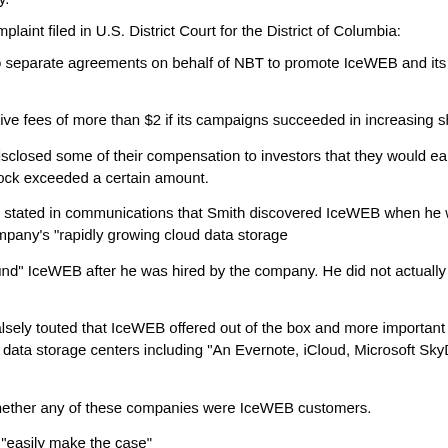must pay a $75,000 penalty.
According to the SEC's complaint filed in U.S. District Court for the District of Columbia:
Smith entered into two separate agreements on behalf of NBT to promote IceWEB and its stock in exchange for $330,00
NBT could earn incentive fees of more than $2 if its campaigns succeeded in increasing share pri
Smith and NBT only disclosed some of their compensation to investors that they would earn incentive fees if the stock exceeded a certain amount.
Smith and NBT falsely stated in communications that Smith discovered IceWEB when he was "searching" for the company's "rapidly growing cloud data storage"
In fact, Smith only "found" IceWEB after he was hired by the company. He did not actually use IceWEB for
Smith and NBT also falsely touted that IceWEB offered out of the box and more important the lowest cost/higher and private data storage centers including "An Evernote, iCloud, Microsoft SkyDrive, Google
Smith did not know whether any of these companies were IceWEB customers.
Smith touted he could "easily make the case"